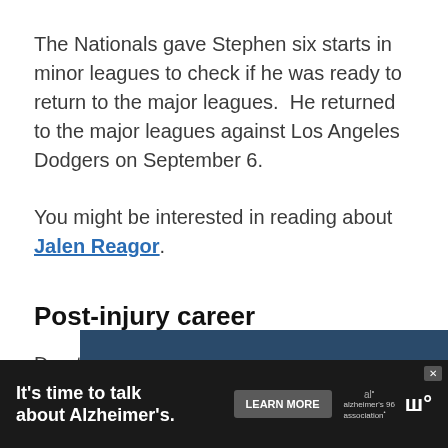The Nationals gave Stephen six starts in minor leagues to check if he was ready to return to the major leagues.  He returned to the major leagues against Los Angeles Dodgers on September 6.
You might be interested in reading about Jalen Reagor.
Post-injury career
Due to his surgery in 2011, the Nationals decided to limit the innings throw in the 2012 season.
[Figure (other): Partial advertisement banner for Alzheimer's Association: 'It's time to talk about Alzheimer's.' with a Learn More button and Alzheimer's Association logo on a dark background.]